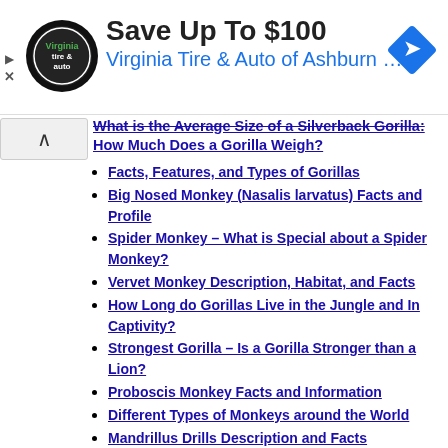[Figure (other): Advertisement banner: Virginia Tire & Auto of Ashburn - Save Up To $100, with circular tire logo and blue diamond navigation icon]
What is the Average Size of a Silverback Gorilla: How Much Does a Gorilla Weigh?
Facts, Features, and Types of Gorillas
Big Nosed Monkey (Nasalis larvatus) Facts and Profile
Spider Monkey – What is Special about a Spider Monkey?
Vervet Monkey Description, Habitat, and Facts
How Long do Gorillas Live in the Jungle and In Captivity?
Strongest Gorilla – Is a Gorilla Stronger than a Lion?
Proboscis Monkey Facts and Information
Different Types of Monkeys around the World
Mandrillus Drills Description and Facts
Chimpanzee Locomotion – Are Chimpanzees bipeds?
Pygmy Slow Loris Facts – Untold and Interesting
Bornean Slow Loris (Nycticebus borneanus) Facts
Pygmy Slow Loris Facts | Baby | Venom | Habitat